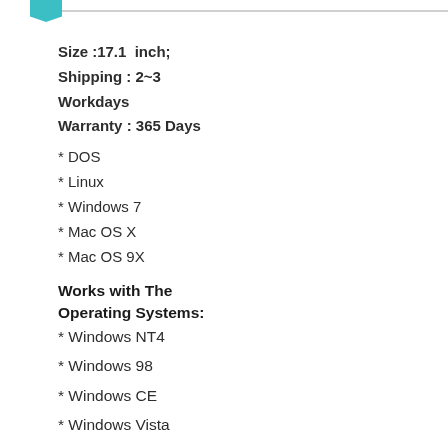Size :17.1  inch;
Shipping : 2~3
Workdays
Warranty : 365 Days
* DOS
* Linux
* Windows 7
* Mac OS X
* Mac OS 9X
Works with The Operating Systems:
* Windows NT4
* Windows 98
* Windows CE
* Windows Vista